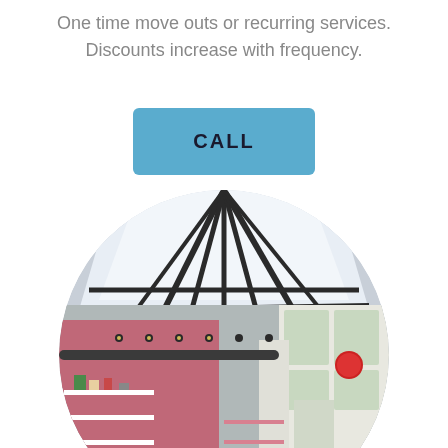One time move outs or recurring services. Discounts increase with frequency.
CALL
[Figure (photo): Circular cropped interior photo of a modern commercial space with a large skylight roof, pink patterned wall panels, white shelving with decorative items, and modern furniture including sofas and ottomans. A chat bubble icon appears in the lower right corner.]